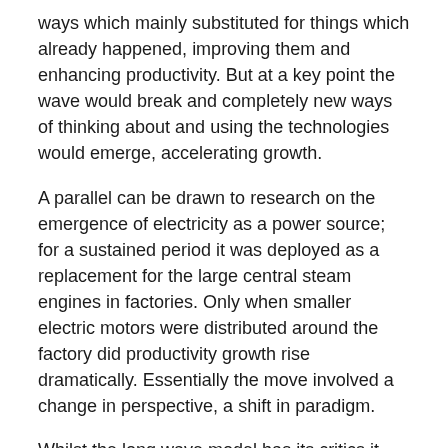ways which mainly substituted for things which already happened, improving them and enhancing productivity. But at a key point the wave would break and completely new ways of thinking about and using the technologies would emerge, accelerating growth.
A parallel can be drawn to research on the emergence of electricity as a power source; for a sustained period it was deployed as a replacement for the large central steam engines in factories. Only when smaller electric motors were distributed around the factory did productivity growth rise dramatically. Essentially the move involved a change in perspective, a shift in paradigm.
Whilst the long wave model has its critics it offers a helpful lens through which to see the rise of digital innovation. In particular the earlier claims for revolutionary status seemed unfounded, reflecting the ‘substitution’ mode of an early TEP. Disappointment with the less than dramatic results of